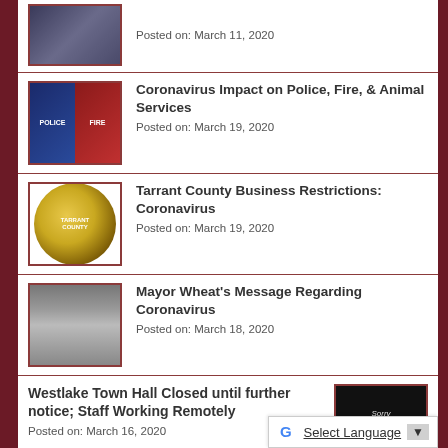[Figure (photo): Partial view of a photo, top of page]
Posted on: March 11, 2020
[Figure (photo): Police and Fire department patches/logos side by side]
Coronavirus Impact on Police, Fire, & Animal Services
Posted on: March 19, 2020
[Figure (photo): Tarrant County seal]
Tarrant County Business Restrictions: Coronavirus
Posted on: March 19, 2020
[Figure (photo): Mayor Wheat headshot photo]
Mayor Wheat's Message Regarding Coronavirus
Posted on: March 18, 2020
Westlake Town Hall Closed until further notice; Staff Working Remotely
[Figure (photo): Sorry We're Closed sign on dark background]
Posted on: March 16, 2020
Westlake Muncipal Court Offic... Closed & All Dockets canceled...